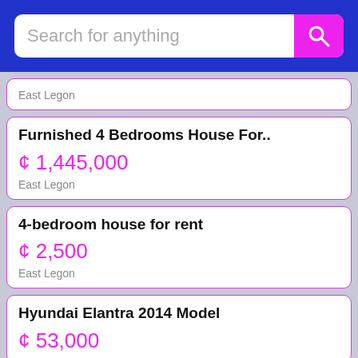[Figure (screenshot): Search bar with placeholder text 'Search for anything' and a magenta search button with magnifying glass icon on a blue background]
East Legon
Furnished 4 Bedrooms House For..
¢ 1,445,000
East Legon
4-bedroom house for rent
¢ 2,500
East Legon
Hyundai Elantra 2014 Model
¢ 53,000